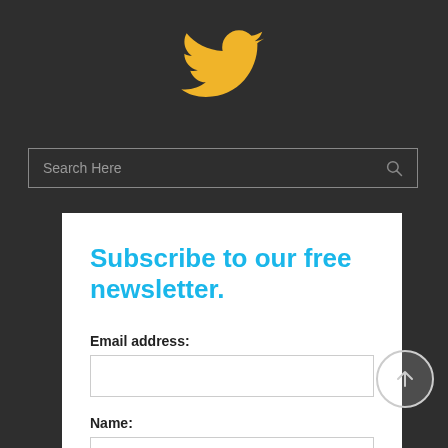[Figure (logo): Twitter bird logo icon in golden/amber color on dark background]
Search Here
Subscribe to our free newsletter.
Email address:
Name: